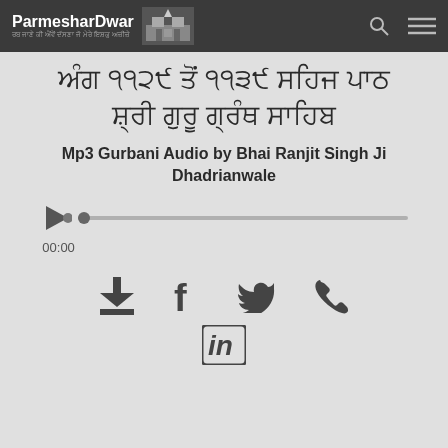ParmesharDwar
ਅੰਗ ੧੧੨੯ ਤੋਂ ੧੧੩੯ ਸਹਿਜ ਪਾਠ ਸ਼੍ਰੀ ਗੁਰੂ ਗ੍ਰੰਥ ਸਾਹਿਬ
Mp3 Gurbani Audio by Bhai Ranjit Singh Ji Dhadrianwale
[Figure (other): Audio player with play button, progress bar, and 00:00 timestamp]
[Figure (other): Social share icons: download, Facebook, Twitter, phone, LinkedIn]